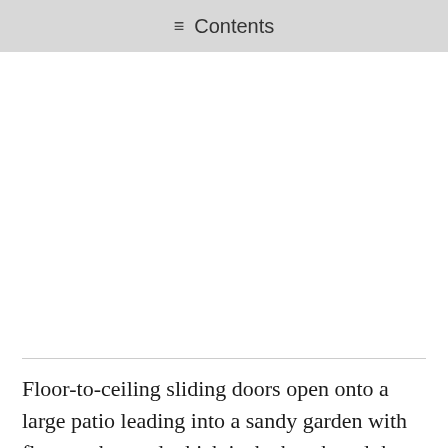≡ Contents
Floor-to-ceiling sliding doors open onto a large patio leading into a sandy garden with flowers, beyond which is the beach and the ocean. The floors are tiled and the